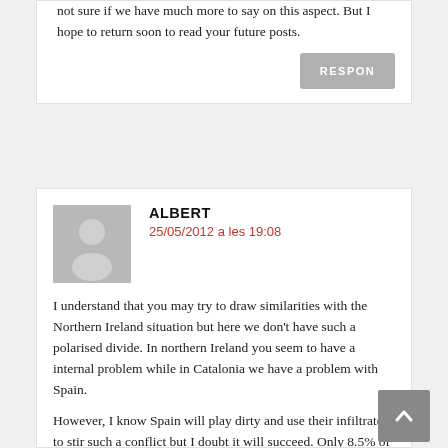not sure if we have much more to say on this aspect. But I hope to return soon to read your future posts.
RESPON
ALBERT
25/05/2012 a les 19:08
I understand that you may try to draw similarities with the Northern Ireland situation but here we don't have such a polarised divide. In northern Ireland you seem to have a internal problem while in Catalonia we have a problem with Spain.
However, I know Spain will play dirty and use their infiltrates to stir such a conflict but I doubt it will succeed. Only 8.5% of the